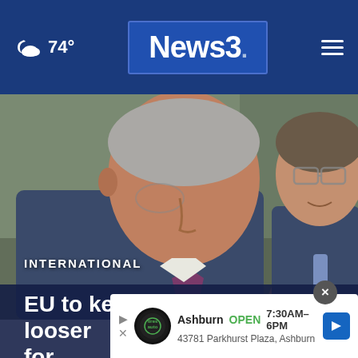74° News3 [navigation header with weather and logo]
[Figure (photo): Two men in suits appear to be in conversation; one man with grey hair gestures with his hand raised near his face while the other man with glasses listens. Both wearing dark suits. INTERNATIONAL label overlaid on photo.]
EU to keep budget rules looser for
[Figure (other): Advertisement overlay: Ashburn OPEN 7:30AM-6PM, 43781 Parkhurst Plaza, Ashburn. Tires Auto logo shown.]